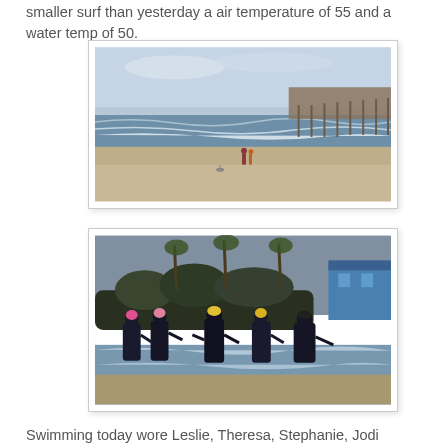smaller surf than yesterday a air temperature of 55 and a water temp of 50.
[Figure (photo): Beach scene showing calm ocean waves with a pier extending into the water on the right side. Sandy beach in the foreground with two people walking and a bird on the sand.]
[Figure (photo): Group of five open water swimmers in wetsuits and colorful swim caps walking out of the ocean onto a sandy beach. Palm trees and a blue building visible in the background.]
Swimming today wore Leslie, Theresa, Stephanie, Jodi